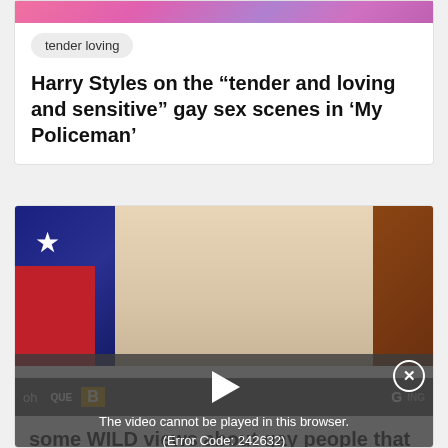[Figure (photo): Colorful floral/concert image strip at top]
tender loving
Harry Styles on the “tender and loving and sensitive” gay sex scenes in ‘My Policeman’
[Figure (photo): Man with blonde hair in front of a flag, with video error overlay: The video cannot be played in this browser. (Error Code: 242632)]
some WILD views about gay people that voters should know